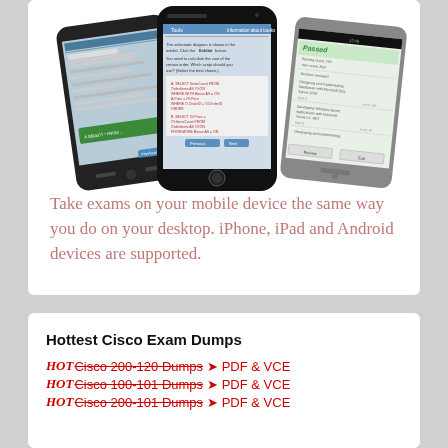[Figure (photo): Three mobile devices (Android smartphone, iPhone, Windows Phone) showing exam software screens]
Take exams on your mobile device the same way you do on your desktop. iPhone, iPad and Android devices are supported.
Hottest Cisco Exam Dumps
HOT Cisco 200-120 Dumps ➤ PDF & VCE
HOT Cisco 100-101 Dumps ➤ PDF & VCE
HOT Cisco 200-101 Dumps ➤ PDF & VCE